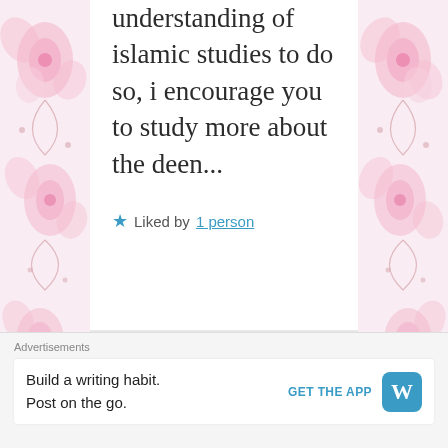understanding of islamic studies to do so, i encourage you to study more about the deen...
★ Liked by 1 person
[Figure (photo): Avatar photo of a woman (orbala) with dark hair, wearing blue, against a green background]
orbala on January 29,
Advertisements
Build a writing habit. Post on the go.
GET THE APP